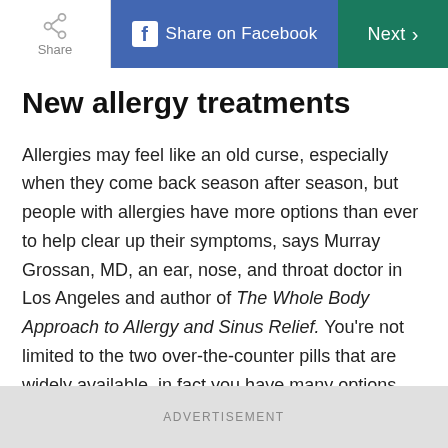Share | Share on Facebook | Next
New allergy treatments
Allergies may feel like an old curse, especially when they come back season after season, but people with allergies have more options than ever to help clear up their symptoms, says Murray Grossan, MD, an ear, nose, and throat doctor in Los Angeles and author of The Whole Body Approach to Allergy and Sinus Relief. You're not limited to the two over-the-counter pills that are widely available, in fact you have many options besides medications, he says.
ADVERTISEMENT